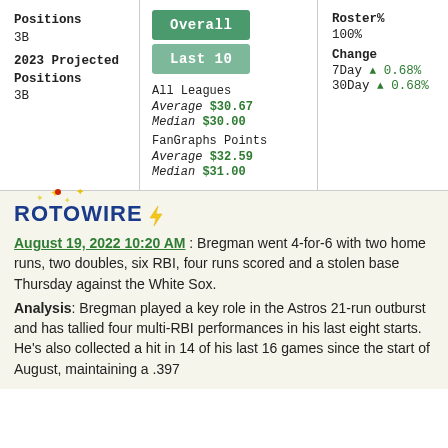Positions
3B
2023 Projected Positions
3B
Overall
Last 10
All Leagues
Average $30.67
Median $30.00
FanGraphs Points
Average $32.59
Median $31.00
Roster%
100%
Change
7Day ▲ 0.68%
30Day ▲ 0.68%
[Figure (logo): RotoWire logo with lightning bolt]
August 19, 2022 10:20 AM : Bregman went 4-for-6 with two home runs, two doubles, six RBI, four runs scored and a stolen base Thursday against the White Sox.
Analysis: Bregman played a key role in the Astros 21-run outburst and has tallied four multi-RBI performances in his last eight starts. He's also collected a hit in 14 of his last 16 games since the start of August, maintaining a .397